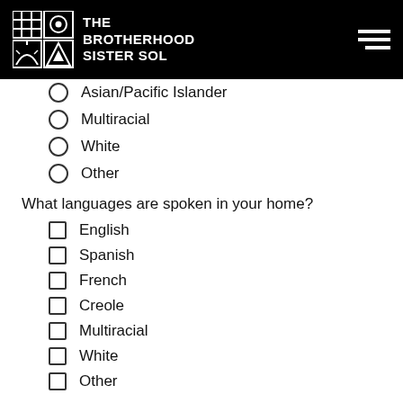THE BROTHERHOOD SISTER SOL
Asian/Pacific Islander
Multiracial
White
Other
What languages are spoken in your home?
English
Spanish
French
Creole
Multiracial
White
Other
Do you or your family receive any of the following (check one of each)?
Public Assistance